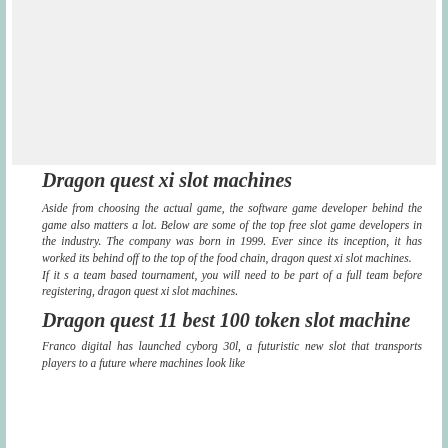[Figure (other): Gray placeholder image area at top of page]
Dragon quest xi slot machines
Aside from choosing the actual game, the software game developer behind the game also matters a lot. Below are some of the top free slot game developers in the industry. The company was born in 1999. Ever since its inception, it has worked its behind off to the top of the food chain, dragon quest xi slot machines.
If it s a team based tournament, you will need to be part of a full team before registering, dragon quest xi slot machines.
Dragon quest 11 best 100 token slot machine
Franco digital has launched cyborg 30l, a futuristic new slot that transports players to a future where machines look like